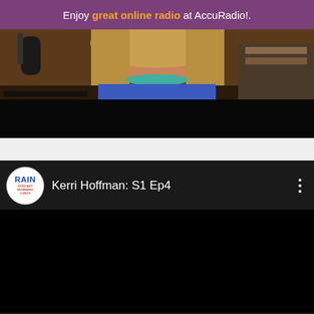Enjoy great online radio at AccuRadio!.
[Figure (photo): Video thumbnail showing a woman with long blonde hair and turquoise necklace in front of a microphone, with a dark lower portion]
[Figure (screenshot): Video player interface with RAIN Podcast Business Lunch channel logo, showing episode title 'Kerri Hoffman: S1 Ep4' with three-dot menu icon, and black video area below]